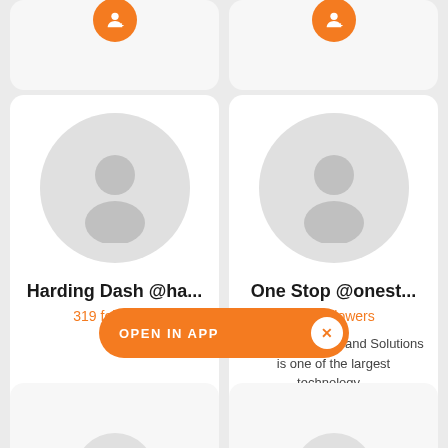[Figure (screenshot): Mobile app UI showing user profile cards in a grid layout. Top partial cards visible with orange add-friend buttons. Middle row shows two full cards: 'Harding Dash @ha...' with 319 followers and 'One Stop @onest...' with 156 followers and description 'OneStop Service and Solutions is one of the largest technology...'. An orange 'OPEN IN APP' banner with a close button overlays the bottom. Bottom partial row shows two more profile avatars.]
Harding Dash @ha...
319 followers
One Stop @onest...
156 followers
OneStop Service and Solutions is one of the largest technology...
OPEN IN APP